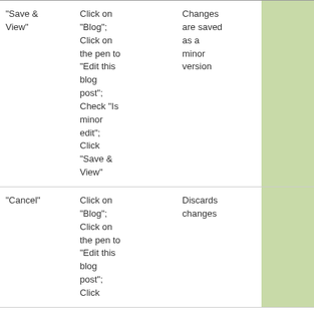| Button/Action | Steps | Result |  |  |  |
| --- | --- | --- | --- | --- | --- |
| "Save & View" | Click on "Blog"; Click on the pen to "Edit this blog post"; Check "Is minor edit"; Click "Save & View" | Changes are saved as a minor version |  | - | - |
| "Cancel" | Click on "Blog"; Click on the pen to "Edit this blog post"; Click... | Discards changes |  | - | - |